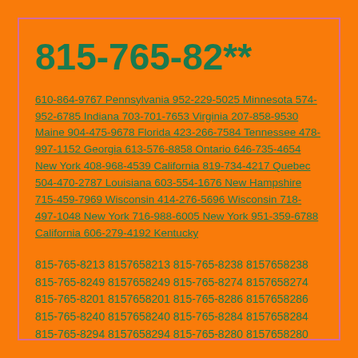815-765-82**
610-864-9767 Pennsylvania 952-229-5025 Minnesota 574-952-6785 Indiana 703-701-7653 Virginia 207-858-9530 Maine 904-475-9678 Florida 423-266-7584 Tennessee 478-997-1152 Georgia 613-576-8858 Ontario 646-735-4654 New York 408-968-4539 California 819-734-4217 Quebec 504-470-2787 Louisiana 603-554-1676 New Hampshire 715-459-7969 Wisconsin 414-276-5696 Wisconsin 718-497-1048 New York 716-988-6005 New York 951-359-6788 California 606-279-4192 Kentucky
815-765-8213 8157658213 815-765-8238 8157658238 815-765-8249 8157658249 815-765-8274 8157658274 815-765-8201 8157658201 815-765-8286 8157658286 815-765-8240 8157658240 815-765-8284 8157658284 815-765-8294 8157658294 815-765-8280 8157658280 815-765-8221 8157658221 815-765-8299 8157658299 815-